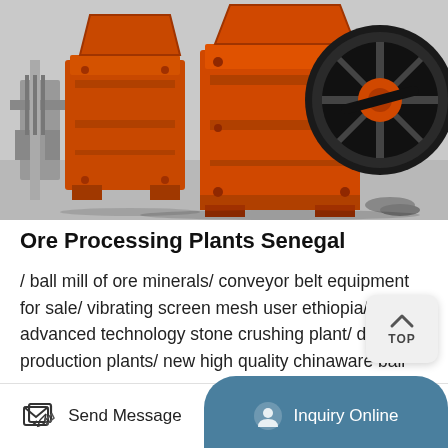[Figure (photo): Orange industrial ore processing crusher/jaw crusher machine with large flywheel, sitting on a platform outdoors on a concrete surface. Multiple machines visible.]
Ore Processing Plants Senegal
/ ball mill of ore minerals/ conveyor belt equipment for sale/ vibrating screen mesh user ethiopia/ advanced technology stone crushing plant/ dry ore production plants/ new high quality chinaware ball mill with large capacity/ ball mill price ore grinding/ hot sale raymond mill gold ore classifier machine/ hardness minerals professional/ ball ...
Send Message   Inquiry Online